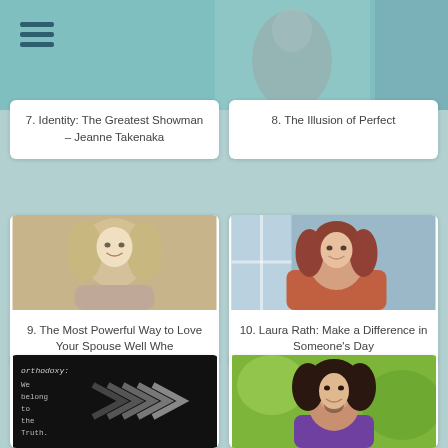[Figure (screenshot): Navigation hamburger menu icon with three horizontal lines in teal/dark blue color on teal banner background]
7. Identity: The Greatest Showman – Jeanne Takenaka
8. The Illusion of Perfect
[Figure (photo): Blonde woman smiling, headshot portrait]
9. The Most Powerful Way to Love Your Spouse Well Whe
[Figure (photo): Woman with auburn/brown hair smiling, headshot portrait by window]
10. Laura Rath: Make a Difference in Someone's Day
[Figure (photo): Book cover with dark background showing chevron arrows and text: 'orthodoxy: We belong to the Truth.']
[Figure (photo): Woman with curly dark hair smiling outdoors with green background]